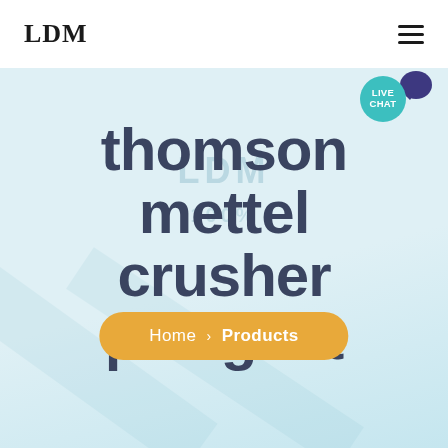LDM
[Figure (logo): LDM logo in top-left navbar]
thomson mettel crusher palaghat
Home › Products
[Figure (illustration): Live Chat button with teal speech bubble and dark blue chat icon in top-right corner]